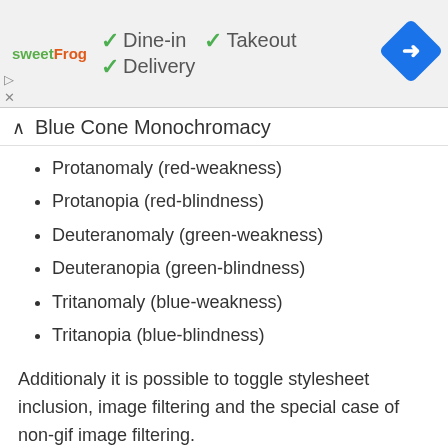[Figure (screenshot): sweetFrog logo and dine-in/takeout/delivery options banner with navigation icon]
Blue Cone Monochromacy
Protanomaly (red-weakness)
Protanopia (red-blindness)
Deuteranomaly (green-weakness)
Deuteranopia (green-blindness)
Tritanomaly (blue-weakness)
Tritanopia (blue-blindness)
Additionaly it is possible to toggle stylesheet inclusion, image filtering and the special case of non-gif image filtering.
Link: Colorblind Web Page Filter